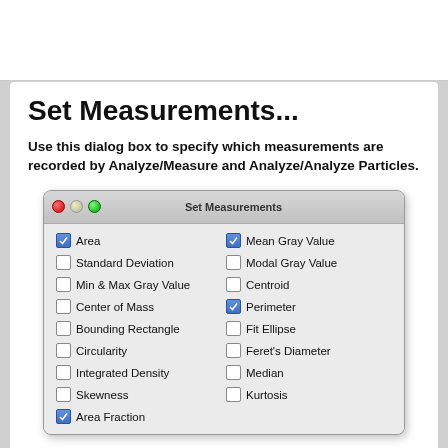Set Measurements...
Use this dialog box to specify which measurements are recorded by Analyze/Measure and Analyze/Analyze Particles.
[Figure (screenshot): macOS-style dialog window titled 'Set Measurements' with traffic-light window controls. Two-column list of checkboxes: Area (checked), Standard Deviation (unchecked), Min & Max Gray Value (unchecked), Center of Mass (unchecked), Bounding Rectangle (unchecked), Circularity (unchecked), Integrated Density (unchecked), Skewness (unchecked), Area Fraction (checked); Mean Gray Value (checked), Modal Gray Value (unchecked), Centroid (unchecked), Perimeter (checked), Fit Ellipse (unchecked), Feret's Diameter (unchecked), Median (unchecked), Kurtosis (unchecked).]